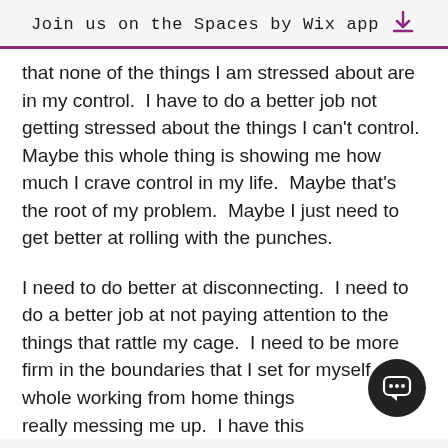Join us on the Spaces by Wix app
that none of the things I am stressed about are in my control.  I have to do a better job not getting stressed about the things I can't control.  Maybe this whole thing is showing me how much I crave control in my life.  Maybe that's the root of my problem.  Maybe I just need to get better at rolling with the punches.
I need to do better at disconnecting.  I need to do a better job at not paying attention to the things that rattle my cage.  I need to be more firm in the boundaries that I set for myself.  The whole working from home things is really messing me up.  I have this